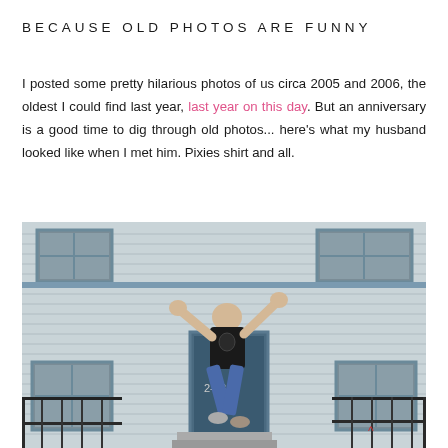BECAUSE OLD PHOTOS ARE FUNNY
I posted some pretty hilarious photos of us circa 2005 and 2006, the oldest I could find last year, last year on this day. But an anniversary is a good time to dig through old photos... here's what my husband looked like when I met him. Pixies shirt and all.
[Figure (photo): Young man in a black Pixies t-shirt and jeans leaping or jumping in front of a blue and white house exterior, with hands raised, appearing to be mid-air above a front door.]